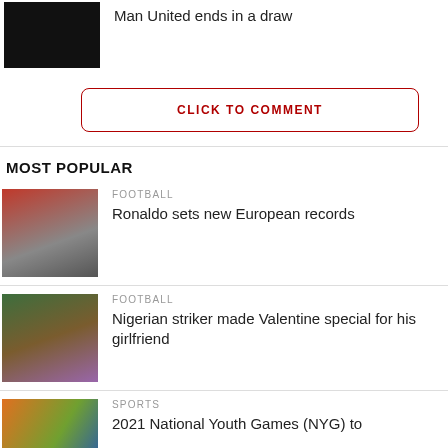Man United ends in a draw
CLICK TO COMMENT
MOST POPULAR
FOOTBALL
Ronaldo sets new European records
FOOTBALL
Nigerian striker made Valentine special for his girlfriend
SPORTS
2021 National Youth Games (NYG) to